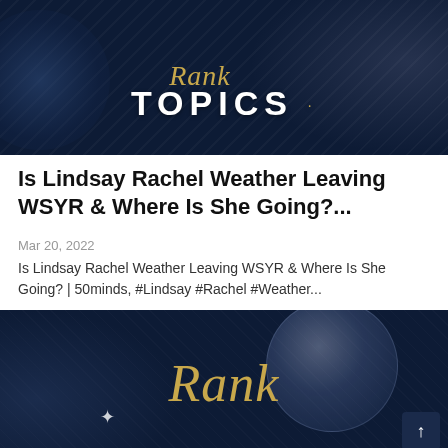[Figure (illustration): Dark navy banner image with 'Rank Topics' text overlay — 'Rank' in gold script font and 'TOPICS' in large white uppercase letters with decorative dots. Background shows abstract dark blue patterns with bokeh effects.]
Is Lindsay Rachel Weather Leaving WSYR & Where Is She Going?...
Mar 20, 2022
Is Lindsay Rachel Weather Leaving WSYR & Where Is She Going? | 50minds, #Lindsay #Rachel #Weather...
[Figure (illustration): Dark navy banner image with 'Rank' in gold italic script font. Background shows dark blue with bokeh/disco ball effect on the right side and a star/sparkle accent on the left.]